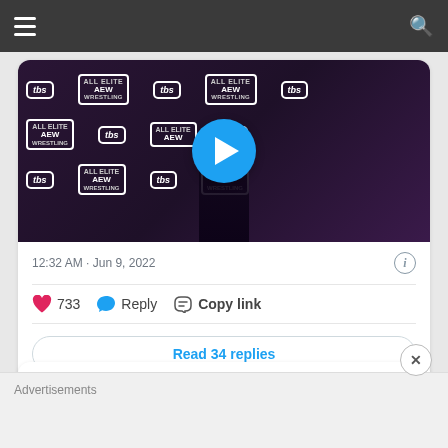[Figure (screenshot): Video thumbnail showing a person in front of AEW/TBS branded backdrop with a blue play button overlay]
12:32 AM · Jun 9, 2022
♥ 733   Reply   Copy link
Read 34 replies
All Elite Wrestling @AEW · Follow